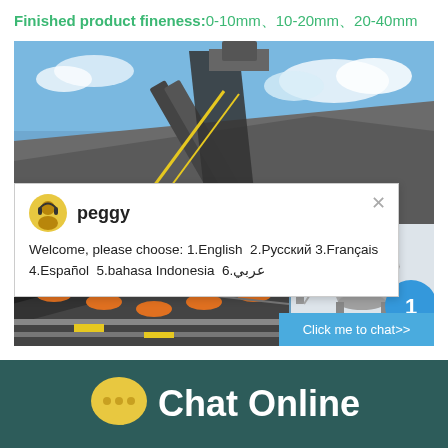Finished product fineness:0-10mm、10-20mm、20-40mm
[Figure (photo): Industrial conveyor belt system at a quarry/mining site with blue sky and aggregate pile, with a live chat popup overlay showing agent 'peggy' with multilingual welcome message, and a 'Click me to chat>>' button.]
Chat Online